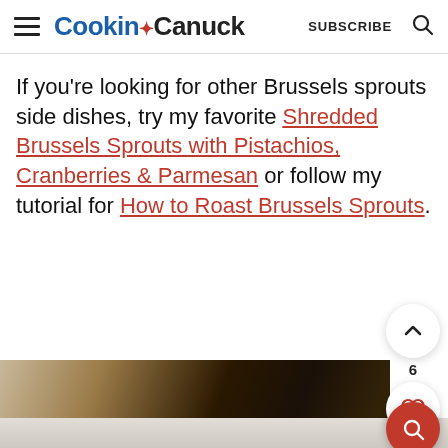Cookin' Canuck  SUBSCRIBE
If you're looking for other Brussels sprouts side dishes, try my favorite Shredded Brussels Sprouts with Pistachios, Cranberries & Parmesan or follow my tutorial for How to Roast Brussels Sprouts.
[Figure (photo): Partial food photograph showing what appears to be a dish with vegetables on a dark background, cut off at the bottom of the page.]